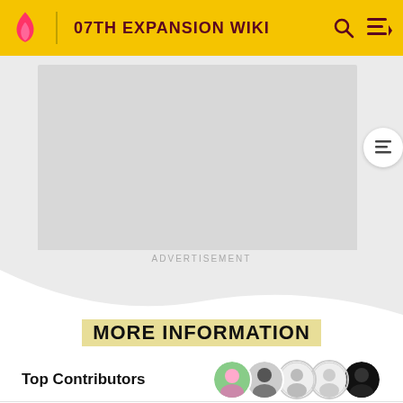07TH EXPANSION WIKI
[Figure (screenshot): Advertisement placeholder area (grey rectangle)]
ADVERTISEMENT
MORE INFORMATION
Top Contributors
Comments (0)
Categories